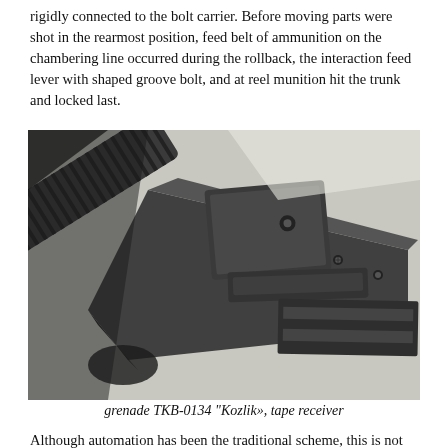rigidly connected to the bolt carrier. Before moving parts were shot in the rearmost position, feed belt of ammunition on the chambering line occurred during the rollback, the interaction feed lever with shaped groove bolt, and at reel munition hit the trunk and locked last.
[Figure (photo): Close-up black and white photograph of the grenade TKB-0134 Kozlik tape receiver mechanism, showing the bolt carrier and feed mechanism components at an angle.]
grenade TKB-0134 "Kozlik», tape receiver
Although automation has been the traditional scheme, this is not true of a very original design solutions. Inside the casing bolt carrier travels along the guide with a gate inside. It is a piston and firing pin, and already there… return spring. In this way. All units